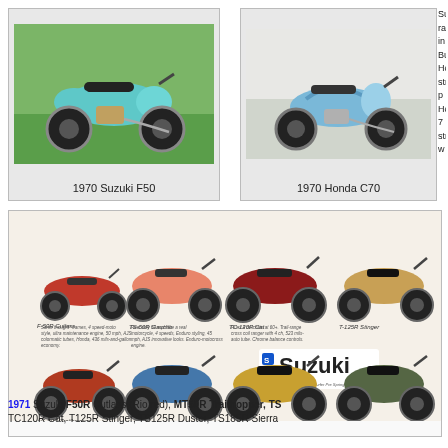[Figure (photo): 1970 Suzuki F50 motorcycle, light blue/teal color, parked on grass in front of bushes]
1970 Suzuki F50
[Figure (photo): 1970 Honda C70 motorcycle, light blue color, parked indoors]
1970 Honda C70
Suzuki racing in But Honda stroke p Honda 7 stroke w
[Figure (illustration): 1971 Suzuki motorcycle catalog showing 8 models: F-50R Cutlass, TS-50R Gaucho, TC-120R Cat, T-125R Stinger, AC-50R Trailhopper, TS-90R Honcho, TC-90R Blazer, TS-125R Duster. Suzuki logo visible in center-right area.]
1971 Suzuki F50R Cutlass (Rio red), MT50R Trailhopper, TS50R Gaucho, TC120R Cat, T125R Stinger, TS125R Duster, TS185R Sierra